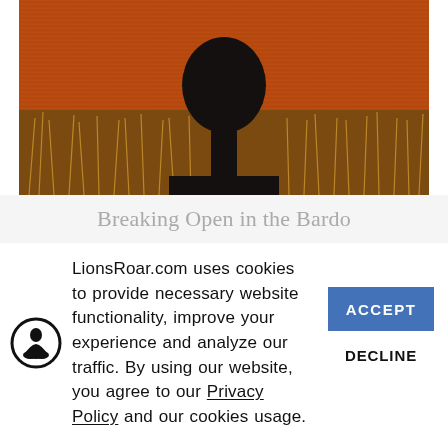[Figure (illustration): Dark silhouette of a person's head and shoulders against a deep orange/red sky background with golden dried grasses or reeds in the foreground, painterly style artwork.]
Breaking Open in the Bardo
LionsRoar.com uses cookies to provide necessary website functionality, improve your experience and analyze our traffic. By using our website, you agree to our Privacy Policy and our cookies usage.
[Figure (logo): Circular icon with a silhouette of a seated meditating figure (Buddha-like) in black on white background with black circle border — Lions Roar logo.]
ACCEPT
DECLINE